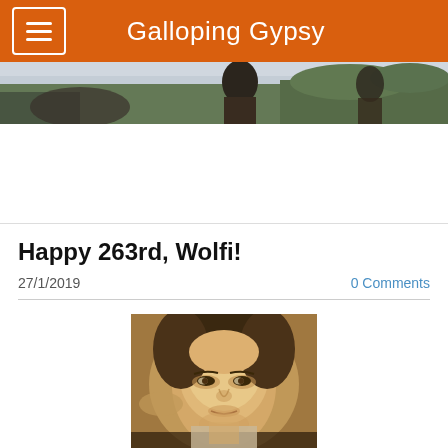Galloping Gypsy
[Figure (photo): Outdoor banner photo showing a person against trees and sky]
[Figure (photo): White/blank advertisement area]
Happy 263rd, Wolfi!
27/1/2019
0 Comments
[Figure (photo): Portrait painting of Mozart (Wolfi), close-up of face with wig]